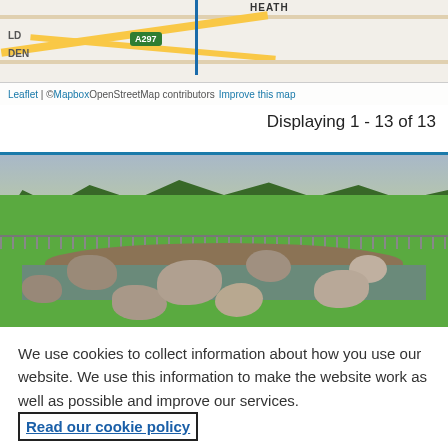[Figure (map): Street map showing area near Heath with road A297 labeled, Leaflet/Mapbox attribution at bottom]
Displaying 1 - 13 of 13
[Figure (photo): Outdoor photo of a circular stone feature with large rocks in a shallow water pool, wooden decking surround, metal fence, and green park in background]
We use cookies to collect information about how you use our website. We use this information to make the website work as well as possible and improve our services.  Read our cookie policy